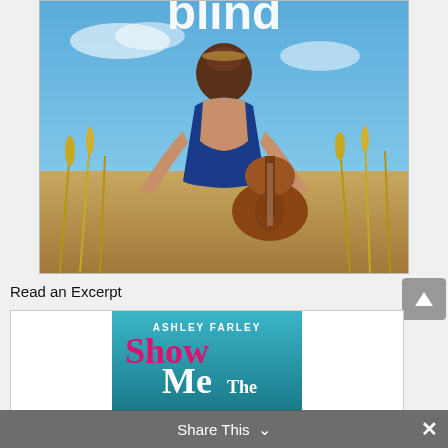[Figure (photo): Book cover showing a woman from behind, wearing a blue dress, holding an acoustic guitar, standing in a golden wheat field under a blue sky. Partial title text 'blind' visible at top in large white letters.]
Read an Excerpt
[Figure (photo): Book cover for 'Show Me The' by Ashley Farley. Teal/blue background with pink and white title text.]
Share This